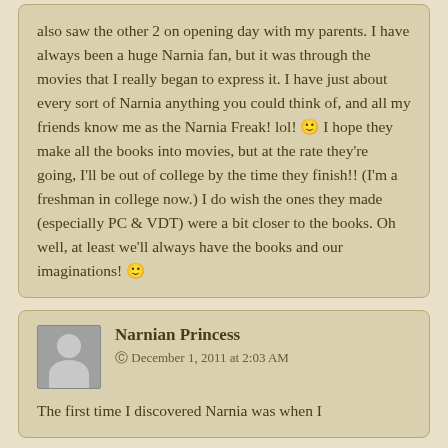also saw the other 2 on opening day with my parents. I have always been a huge Narnia fan, but it was through the movies that I really began to express it. I have just about every sort of Narnia anything you could think of, and all my friends know me as the Narnia Freak! lol! 🙂 I hope they make all the books into movies, but at the rate they're going, I'll be out of college by the time they finish!! (I'm a freshman in college now.) I do wish the ones they made (especially PC & VDT) were a bit closer to the books. Oh well, at least we'll always have the books and our imaginations! 🙂
Narnian Princess
© December 1, 2011 at 2:03 AM
The first time I discovered Narnia was when I